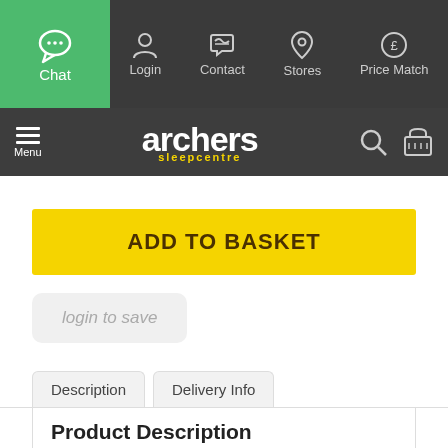Chat | Login | Contact | Stores | Price Match
[Figure (logo): Archers Sleepcentre logo with Menu, Search and Basket icons]
ADD TO BASKET
login to save
Description | Delivery Info
Product Description